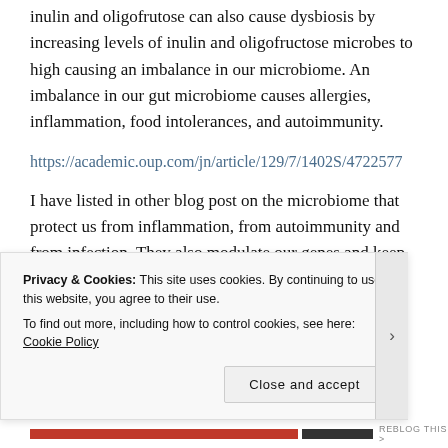inulin and oligofrutose can also cause dysbiosis by increasing levels of inulin and oligofructose microbes to high causing an imbalance in our microbiome. An imbalance in our gut microbiome causes allergies, inflammation, food intolerances, and autoimmunity.
https://academic.oup.com/jn/article/129/7/1402S/4722577
I have listed in other blog post on the microbiome that protect us from inflammation, from autoimmunity and from infection. They also modulate our genes and keep our organs throughout the body healthy and
Privacy & Cookies: This site uses cookies. By continuing to use this website, you agree to their use.
To find out more, including how to control cookies, see here: Cookie Policy